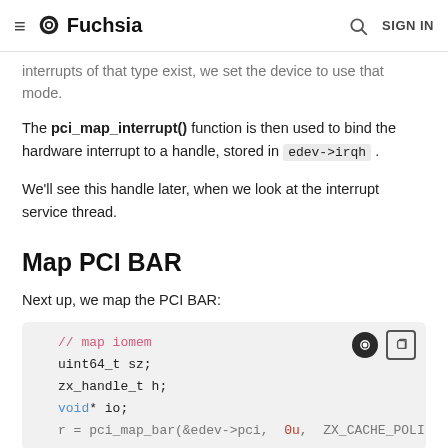≡ Fuchsia  [search] SIGN IN
interrupts of that type exist, we set the device to use that mode.
The pci_map_interrupt() function is then used to bind the hardware interrupt to a handle, stored in edev->irqh .
We'll see this handle later, when we look at the interrupt service thread.
Map PCI BAR
Next up, we map the PCI BAR:
[Figure (screenshot): Code block showing C code: // map iomem, uint64_t sz;, zx_handle_t h;, void* io;, r = pci_map_bar(&edev->pci, 0u, ZX_CACHE_POLI...]